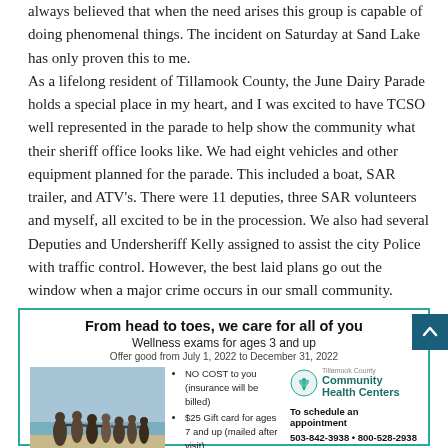always believed that when the need arises this group is capable of doing phenomenal things. The incident on Saturday at Sand Lake has only proven this to me.
As a lifelong resident of Tillamook County, the June Dairy Parade holds a special place in my heart, and I was excited to have TCSO well represented in the parade to help show the community what their sheriff office looks like. We had eight vehicles and other equipment planned for the parade. This included a boat, SAR trailer, and ATV's. There were 11 deputies, three SAR volunteers and myself, all excited to be in the procession. We also had several Deputies and Undersheriff Kelly assigned to assist the city Police with traffic control. However, the best laid plans go out the window when a major crime occurs in our small community.
[Figure (infographic): Advertisement for Tillamook County Community Health Centers promoting wellness exams for ages 3 and up, featuring a family photo, bullet points about no cost exams and gift cards, logo, and contact information.]